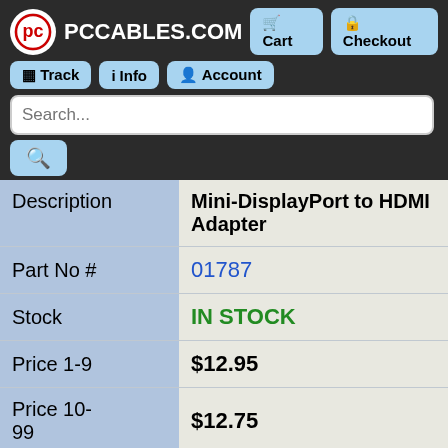PCCABLES.COM — Cart | Checkout | Track | Info | Account
| Field | Value |
| --- | --- |
| Description | Mini-DisplayPort to HDMI Adapter |
| Part No # | 01787 |
| Stock | IN STOCK |
| Price 1-9 | $12.95 |
| Price 10-99 | $12.75 |
| Price 100+ | $12.50 |
| Quantity |  |